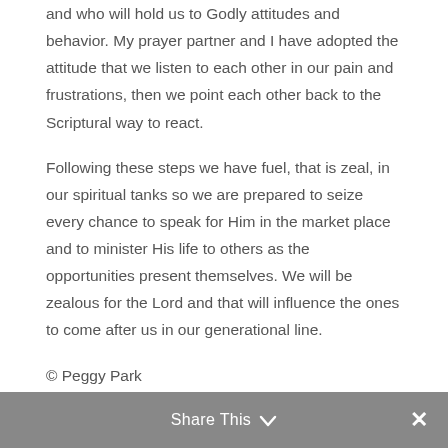and who will hold us to Godly attitudes and behavior. My prayer partner and I have adopted the attitude that we listen to each other in our pain and frustrations, then we point each other back to the Scriptural way to react.
Following these steps we have fuel, that is zeal, in our spiritual tanks so we are prepared to seize every chance to speak for Him in the market place and to minister His life to others as the opportunities present themselves. We will be zealous for the Lord and that will influence the ones to come after us in our generational line.
© Peggy Park
Share This ∨  ✕